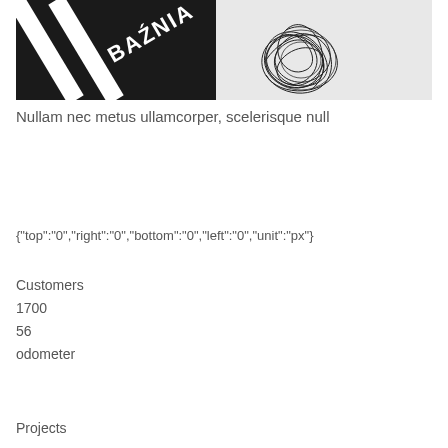[Figure (photo): Black and white photo showing a graphic design element with bold diagonal stripes and the text 'BAŹNIA' on the left, and a tangle of black lines resembling a scribble or abstract drawing on the right, on a light background.]
Nullam nec metus ullamcorper, scelerisque null
{"top":"0","right":"0","bottom":"0","left":"0","unit":"px"}
Customers
1700
56
odometer
Projects